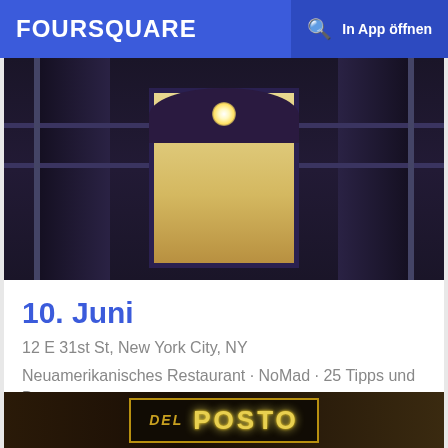FOURSQUARE  🔍  In App öffnen
[Figure (photo): Exterior photo of a restaurant entrance with metal scaffolding/railings and a warm-lit doorway at night]
10. Juni
12 E 31st St, New York City, NY
Neuamerikanisches Restaurant · NoMad · 25 Tipps und Bewertungen
[Figure (photo): Close-up photo of the Del Posto restaurant sign with gold lettering on dark background]